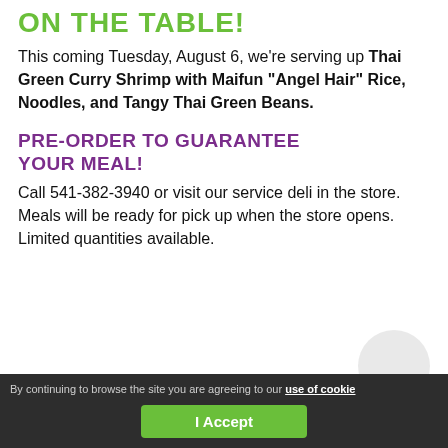ON THE TABLE!
This coming Tuesday, August 6, we're serving up Thai Green Curry Shrimp with Maifun "Angel Hair" Rice, Noodles, and Tangy Thai Green Beans.
PRE-ORDER TO GUARANTEE YOUR MEAL!
Call 541-382-3940 or visit our service deli in the store. Meals will be ready for pick up when the store opens. Limited quantities available.
By continuing to browse the site you are agreeing to our use of cookies